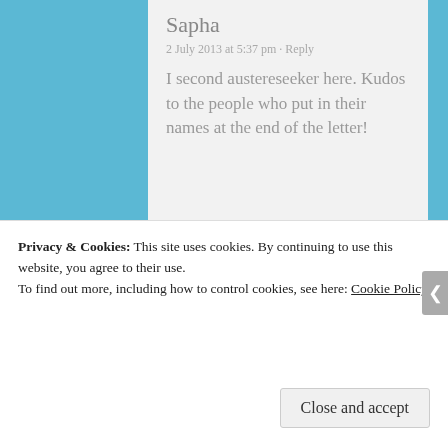Sapha
2 July 2013 at 5:37 pm · Reply
I second austereseeker here. Kudos to the people who put in their names at the end of the letter!
S
2 July 2013 at 7:14 pm · Reply
Lets wait and c how seriously tatas take this up.
Privacy & Cookies: This site uses cookies. By continuing to use this website, you agree to their use.
To find out more, including how to control cookies, see here: Cookie Policy